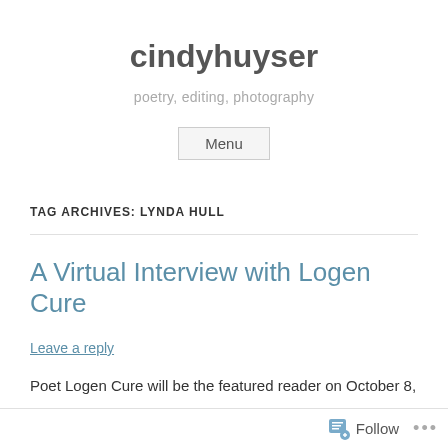cindyhuyser
poetry, editing, photography
TAG ARCHIVES: LYNDA HULL
A Virtual Interview with Logen Cure
Leave a reply
Poet Logen Cure will be the featured reader on October 8,
Follow ...